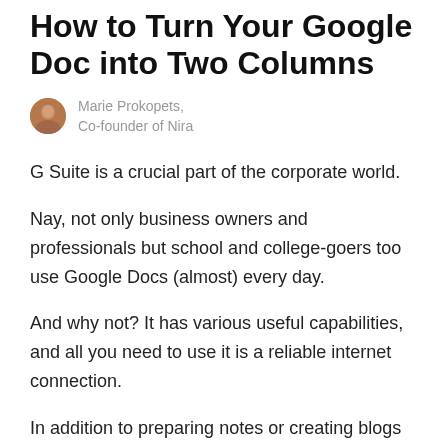How to Turn Your Google Doc into Two Columns
Marie Prokopets, Co-founder of Nira
G Suite is a crucial part of the corporate world.
Nay, not only business owners and professionals but school and college-goers too use Google Docs (almost) every day.
And why not? It has various useful capabilities, and all you need to use it is a reliable internet connection.
In addition to preparing notes or creating blogs and articles, you can use this word processor from